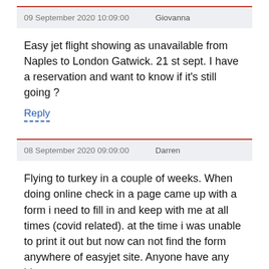09 September 2020 10:09:00   Giovanna
Easy jet flight showing as unavailable from Naples to London Gatwick. 21 st sept. I have a reservation and want to know if it's still going ?
Reply
08 September 2020 09:09:00   Darren
Flying to turkey in a couple of weeks. When doing online check in a page came up with a form i need to fill in and keep with me at all times (covid related). at the time i was unable to print it out but now can not find the form anywhere of easyjet site. Anyone have any ideas
Reply